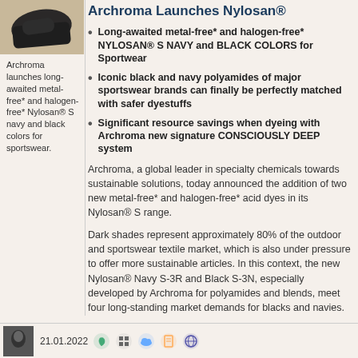[Figure (photo): Thumbnail photo showing a shoe or athletic item on a light background]
Archroma launches long-awaited metal-free* and halogen-free* Nylosan® S navy and black colors for sportswear.
Archroma Launches Nylosan®
Long-awaited metal-free* and halogen-free* NYLOSAN® S NAVY and BLACK COLORS for Sportwear
Iconic black and navy polyamides of major sportswear brands can finally be perfectly matched with safer dyestuffs
Significant resource savings when dyeing with Archroma new signature CONSCIOUSLY DEEP system
Archroma, a global leader in specialty chemicals towards sustainable solutions, today announced the addition of two new metal-free* and halogen-free* acid dyes in its Nylosan® S range.
Dark shades represent approximately 80% of the outdoor and sportswear textile market, which is also under pressure to offer more sustainable articles. In this context, the new Nylosan® Navy S-3R and Black S-3N, especially developed by Archroma for polyamides and blends, meet four long-standing market demands for blacks and navies.
MORE ˅
21.01.2022